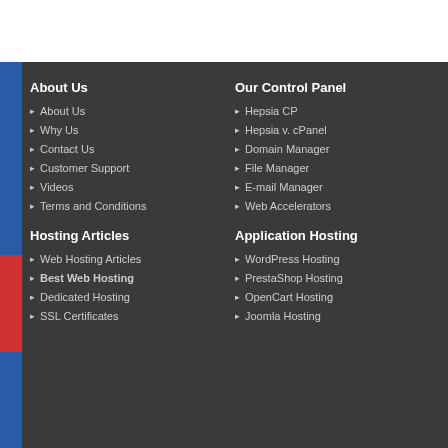About Us
About Us
Why Us
Contact Us
Customer Support
Videos
Terms and Conditions
Our Control Panel
Hepsia CP
Hepsia v. cPanel
Domain Manager
File Manager
E-mail Manager
Web Accelerators
Hosting Articles
Web Hosting Articles
Best Web Hosting
Dedicated Hosting
SSL Certificates
Application Hosting
WordPress Hosting
PrestaShop Hosting
OpenCart Hosting
Joomla Hosting